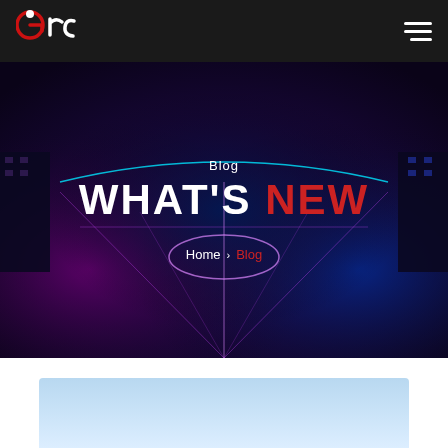GRC logo and navigation menu
[Figure (screenshot): Hero banner with dark neon background showing a sports court/field with glowing lines, purple and blue hues]
Blog - WHAT'S NEW
Home > Blog
[Figure (photo): Partial card image with light blue gradient background at the bottom of the page]